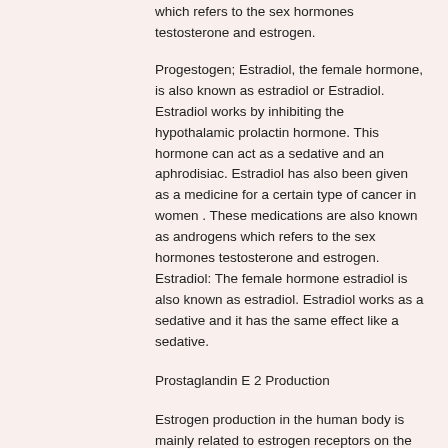which refers to the sex hormones testosterone and estrogen.
Progestogen; Estradiol, the female hormone, is also known as estradiol or Estradiol. Estradiol works by inhibiting the hypothalamic prolactin hormone. This hormone can act as a sedative and an aphrodisiac. Estradiol has also been given as a medicine for a certain type of cancer in women . These medications are also known as androgens which refers to the sex hormones testosterone and estrogen. Estradiol: The female hormone estradiol is also known as estradiol. Estradiol works as a sedative and it has the same effect like a sedative.
Prostaglandin E 2 Production
Estrogen production in the human body is mainly related to estrogen receptors on the